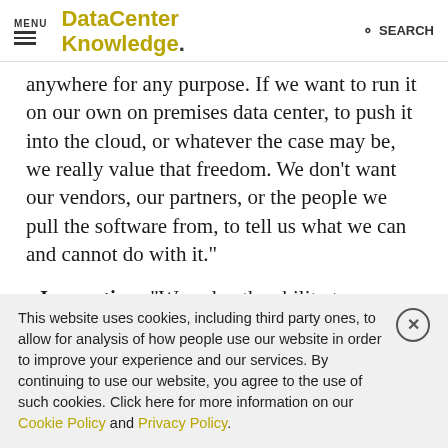MENU | DataCenter Knowledge. | SEARCH
anywhere for any purpose. If we want to run it on our own on premises data center, to push it into the cloud, or whatever the case may be, we really value that freedom. We don't want our vendors, our partners, or the people we pull the software from, to tell us what we can and cannot do with it."
Innovation: "We value the ability to innovate and leverage the collaborative community. Everybody here [at MesosCon] is very interested in leveraging everybody else's work. At EMC
This website uses cookies, including third party ones, to allow for analysis of how people use our website in order to improve your experience and our services. By continuing to use our website, you agree to the use of such cookies. Click here for more information on our Cookie Policy and Privacy Policy.